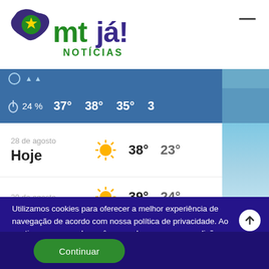[Figure (logo): MT Já! Notícias logo — purple map of Brazil with green star, green and purple stylized text 'mtjá!' and 'NOTÍCIAS']
[Figure (screenshot): Weather app interface showing humidity 24%, temperatures 37°, 38°, 35°, 3x in a blue bar. Below: 28 de agosto / Hoje row with sun icon, 38° and 23°. 29 de agosto row with sun icon, 39° and 24°. Blue sky background on right side.]
Utilizamos cookies para oferecer a melhor experiência de navegação de acordo com nossa política de privacidade. Ao continuar navegando você concorda com essas condições.
Continuar